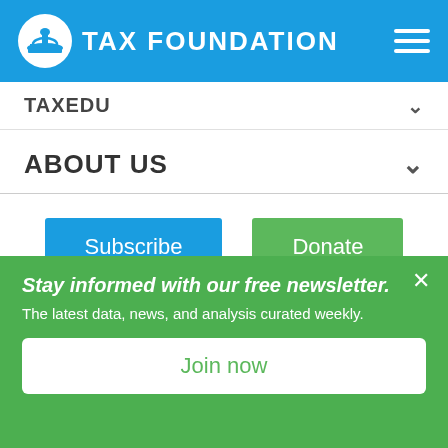TAX FOUNDATION
TAXEDU
ABOUT US
Subscribe
Donate
pursuing refund claims.
Whether interest rates on refunds and assessments are
Stay informed with our free newsletter. The latest data, news, and analysis curated weekly.
Join now